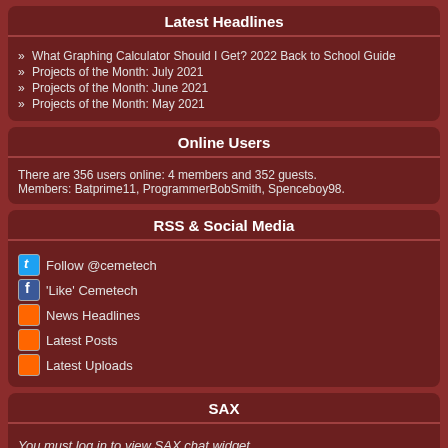Latest Headlines
What Graphing Calculator Should I Get? 2022 Back to School Guide
Projects of the Month: July 2021
Projects of the Month: June 2021
Projects of the Month: May 2021
Online Users
There are 356 users online: 4 members and 352 guests. Members: Batprime11, ProgrammerBobSmith, Spenceboy98.
RSS & Social Media
Follow @cemetech
'Like' Cemetech
News Headlines
Latest Posts
Latest Uploads
SAX
You must log in to view SAX chat widget.
Advertisement